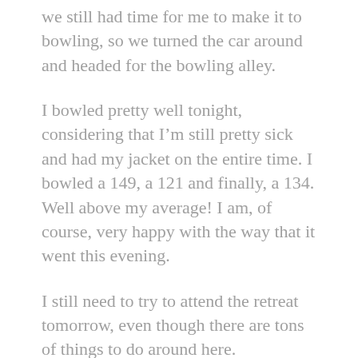we still had time for me to make it to bowling, so we turned the car around and headed for the bowling alley.
I bowled pretty well tonight, considering that I'm still pretty sick and had my jacket on the entire time. I bowled a 149, a 121 and finally, a 134. Well above my average! I am, of course, very happy with the way that it went this evening.
I still need to try to attend the retreat tomorrow, even though there are tons of things to do around here.
I haven't even been able to get a full sentence typed before Casey starts bugging me to throw his toy. He